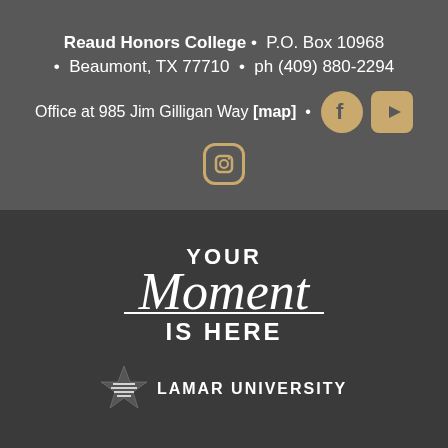Reaud Honors College • P.O. Box 10968
• Beaumont, TX 77710 • ph (409) 880-2294
Office at 985 Jim Gilligan Way [map] •
[Figure (logo): Facebook, YouTube, and Instagram social media icons in gold/tan color]
YOUR Moment IS HERE
[Figure (logo): Lamar University star logo with text LAMAR UNIVERSITY]